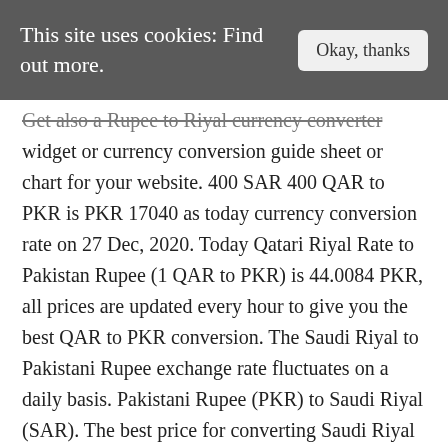This site uses cookies: Find out more. Okay, thanks
Get also a Rupee to Riyal currency converter widget or currency conversion guide sheet or chart for your website. 400 SAR 400 QAR to PKR is PKR 17040 as today currency conversion rate on 27 Dec, 2020. Today Qatari Riyal Rate to Pakistan Rupee (1 QAR to PKR) is 44.0084 PKR, all prices are updated every hour to give you the best QAR to PKR conversion. The Saudi Riyal to Pakistani Rupee exchange rate fluctuates on a daily basis. Pakistani Rupee (PKR) to Saudi Riyal (SAR). The best price for converting Saudi Riyal into Pakistani Rupee was Sun, 17 Jan 2021 on that day 1 Saudi Riyal was equal 42.958